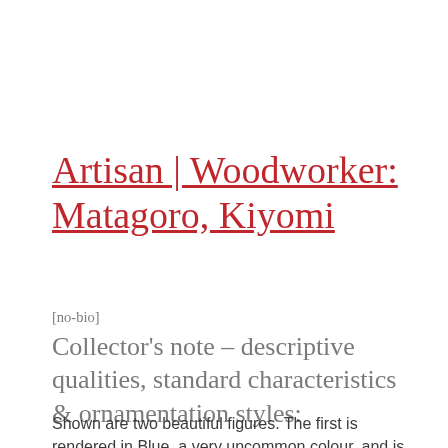Artisan | Woodworker: Matagoro, Kiyomi
[no-bio]
Collector's note – descriptive qualities, standard characteristics & ornamentation styles:
Shown are two beautiful figures. The first is rendered in Blue, a very uncommon colour, and is